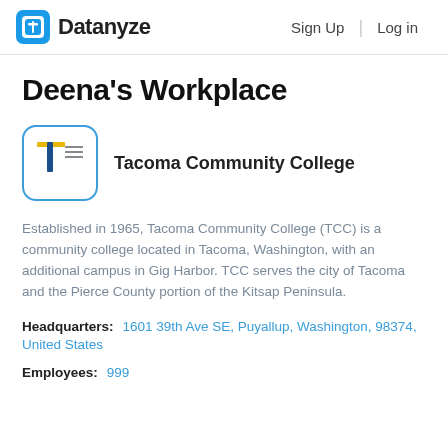Datanyze  Sign Up  Log in
Deena's Workplace
[Figure (logo): Tacoma Community College logo — letter T with blue and yellow colors inside a rounded white box with blue border]
Tacoma Community College
Established in 1965, Tacoma Community College (TCC) is a community college located in Tacoma, Washington, with an additional campus in Gig Harbor. TCC serves the city of Tacoma and the Pierce County portion of the Kitsap Peninsula.
Headquarters:  1601 39th Ave SE, Puyallup, Washington, 98374, United States
Employees:  999